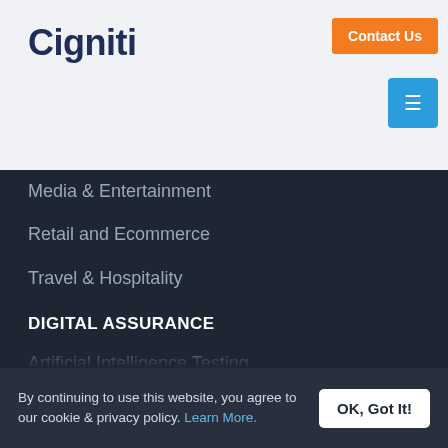Cigniti
Media & Entertainment
Retail and Ecommerce
Travel & Hospitality
DIGITAL ASSURANCE
Artificial Intelligence Testing
Big Data & Analytics Testing
Blockchain Testing
Cloud Migration Assurance
Digital Assurance & Testing
Internet of Things (IoT) Testing
Mobile Testing
Robotic Process Automation (RPA)
5G Assurance Services
By continuing to use this website, you agree to our cookie & privacy policy. Learn More.